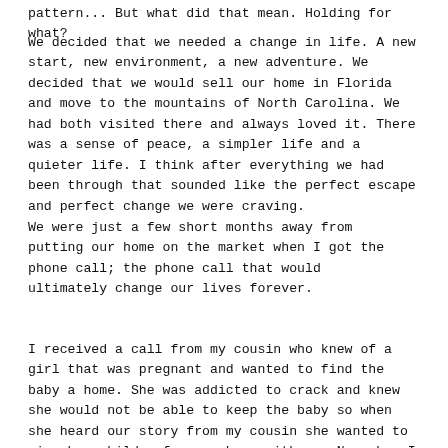pattern... But what did that mean. Holding for what?
We decided that we needed a change in life. A new start, new environment, a new adventure. We decided that we would sell our home in Florida and move to the mountains of North Carolina. We had both visited there and always loved it. There was a sense of peace, a simpler life and a quieter life. I think after everything we had been through that sounded like the perfect escape and perfect change we were craving.
We were just a few short months away from putting our home on the market when I got the phone call; the phone call that would ultimately change our lives forever.
I received a call from my cousin who knew of a girl that was pregnant and wanted to find the baby a home. She was addicted to crack and knew she would not be able to keep the baby so when she heard our story from my cousin she wanted to give her child a forever home with us. Now when I heard all this, it came as a shock. I had to process it in my mind. I thought to myself how